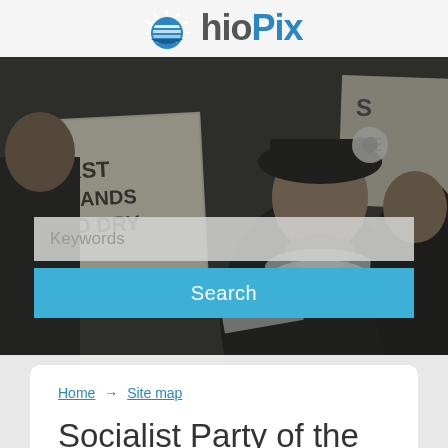OhioPix
[Figure (photo): Black and white historical photograph of women protesters holding signs including 'DEMANDS OHIO DRY', with a woman in a decorative hat prominent in the foreground. A search box with placeholder 'Keywords' and a blue 'Search' button are overlaid on the image.]
Home → Site map
Socialist Party of the United States of